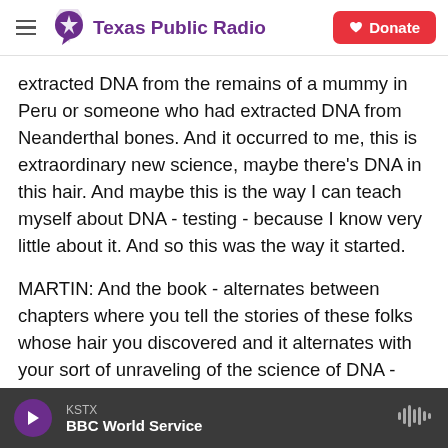Texas Public Radio | Donate
extracted DNA from the remains of a mummy in Peru or someone who had extracted DNA from Neanderthal bones. And it occurred to me, this is extraordinary new science, maybe there's DNA in this hair. And maybe this is the way I can teach myself about DNA - testing - because I know very little about it. And so this was the way it started.
MARTIN: And the book - alternates between chapters where you tell the stories of these folks whose hair you discovered and it alternates with your sort of unraveling of the science of DNA - how it works, how genetic testing actually works, I love
KSTX | BBC World Service